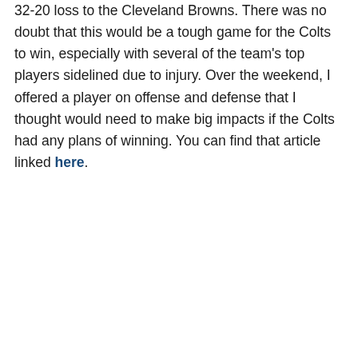32-20 loss to the Cleveland Browns. There was no doubt that this would be a tough game for the Colts to win, especially with several of the team's top players sidelined due to injury. Over the weekend, I offered a player on offense and defense that I thought would need to make big impacts if the Colts had any plans of winning. You can find that article linked here.